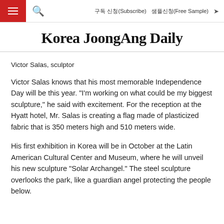구독 신청(Subscribe)   샘플신청(Free Sample)
Korea JoongAng Daily
Victor Salas, sculptor
Victor Salas knows that his most memorable Independence Day will be this year. "I'm working on what could be my biggest sculpture," he said with excitement. For the reception at the Hyatt hotel, Mr. Salas is creating a flag made of plasticized fabric that is 350 meters high and 510 meters wide.
His first exhibition in Korea will be in October at the Latin American Cultural Center and Museum, where he will unveil his new sculpture "Solar Archangel." The steel sculpture overlooks the park, like a guardian angel protecting the people below.